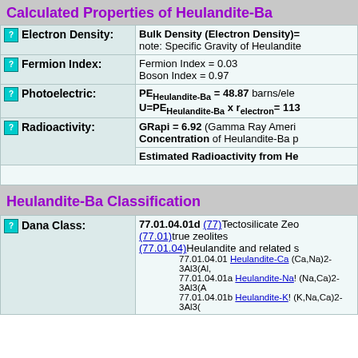Calculated Properties of Heulandite-Ba
| Property | Value |
| --- | --- |
| Electron Density: | Bulk Density (Electron Density)= note: Specific Gravity of Heulandite |
| Fermion Index: | Fermion Index = 0.03
Boson Index = 0.97 |
| Photoelectric: | PE_Heulandite-Ba = 48.87 barns/elec
U=PE_Heulandite-Ba x r_electron= 113... |
| Radioactivity: | GRapi = 6.92 (Gamma Ray Ameri...
Concentration of Heulandite-Ba p...

Estimated Radioactivity from He... |
Heulandite-Ba Classification
| Property | Value |
| --- | --- |
| Dana Class: | 77.01.04.01d (77)Tectosilicate Zeo...
(77.01)true zeolites
(77.01.04)Heulandite and related s...
77.01.04.01 Heulandite-Ca (Ca,Na)2-3Al3(Al,...
77.01.04.01a Heulandite-Na! (Na,Ca)2-3Al3(A...
77.01.04.01b Heulandite-K! (K,Na,Ca)2-3Al3(... |